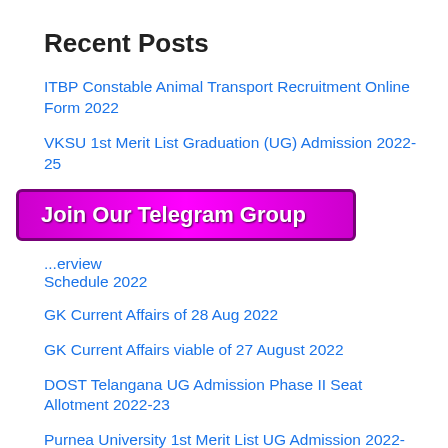Recent Posts
ITBP Constable Animal Transport Recruitment Online Form 2022
VKSU 1st Merit List Graduation (UG) Admission 2022-25
GK Current Affairs of 29 August 2022
[Figure (other): Purple/magenta banner overlay reading 'Join Our Telegram Group']
...erview Schedule 2022
GK Current Affairs of 28 Aug 2022
GK Current Affairs viable of 27 August 2022
DOST Telangana UG Admission Phase II Seat Allotment 2022-23
Purnea University 1st Merit List UG Admission 2022-23
GK Current Affairs of 26 August 2022
Bihar Polytechnic Result 2022- Diploma DCECE Rank Card